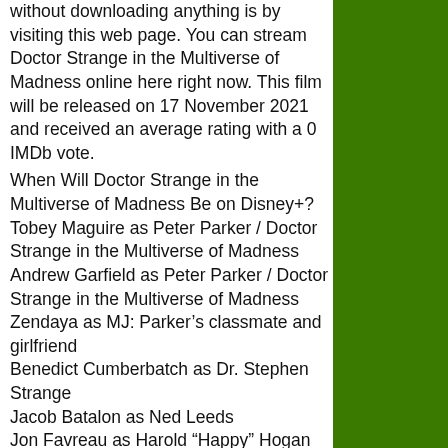without downloading anything is by visiting this web page. You can stream Doctor Strange in the Multiverse of Madness online here right now. This film will be released on 17 November 2021 and received an average rating with a 0 IMDb vote.
When Will Doctor Strange in the Multiverse of Madness Be on Disney+?
Tobey Maguire as Peter Parker / Doctor Strange in the Multiverse of Madness
Andrew Garfield as Peter Parker / Doctor Strange in the Multiverse of Madness
Zendaya as MJ: Parker's classmate and girlfriend
Benedict Cumberbatch as Dr. Stephen Strange
Jacob Batalon as Ned Leeds
Jon Favreau as Harold “Happy” Hogan
Marisa Tomei as May Parker
J. B. Smoove as Julius Dell
Benedict Wong as Wong
Jamie Foxx as Max Dillon / Electro